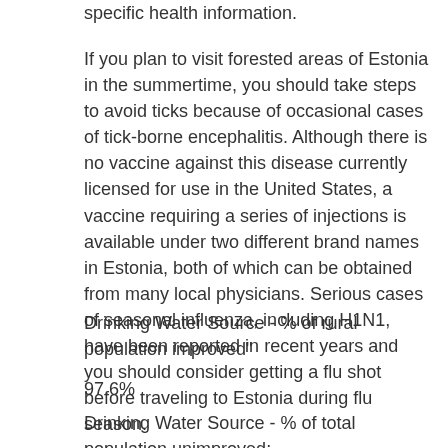specific health information.
If you plan to visit forested areas of Estonia in the summertime, you should take steps to avoid ticks because of occasional cases of tick-borne encephalitis. Although there is no vaccine against this disease currently licensed for use in the United States, a vaccine requiring a series of injections is available under two different brand names in Estonia, both of which can be obtained from many local physicians. Serious cases of seasonal influenza, including H1N1, have been reported in recent years and you should consider getting a flu shot before traveling to Estonia during flu season.
Drinking Water Source - % of rural population improved"
97.6%
Drinking Water Source - % of total population unimproved: